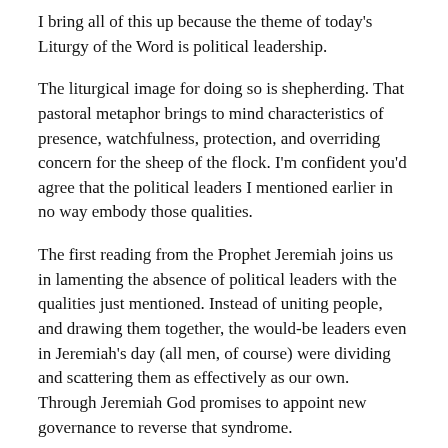I bring all of this up because the theme of today's Liturgy of the Word is political leadership.
The liturgical image for doing so is shepherding. That pastoral metaphor brings to mind characteristics of presence, watchfulness, protection, and overriding concern for the sheep of the flock. I'm confident you'd agree that the political leaders I mentioned earlier in no way embody those qualities.
The first reading from the Prophet Jeremiah joins us in lamenting the absence of political leaders with the qualities just mentioned. Instead of uniting people, and drawing them together, the would-be leaders even in Jeremiah's day (all men, of course) were dividing and scattering them as effectively as our own. Through Jeremiah God promises to appoint new governance to reverse that syndrome.